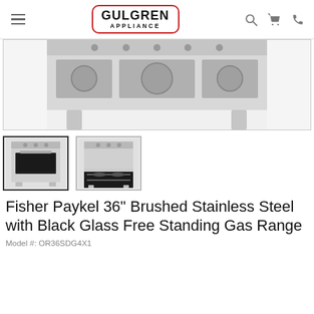Gulgren Appliance
[Figure (photo): Main product photo showing top/back of Fisher Paykel 36-inch stainless steel gas range, cropped view from above]
[Figure (photo): Thumbnail 1: Fisher Paykel gas range front view with closed oven door, stainless steel]
[Figure (photo): Thumbnail 2: Fisher Paykel gas range front view with open oven door showing interior racks]
Fisher Paykel 36" Brushed Stainless Steel with Black Glass Free Standing Gas Range
Model #: OR36SDG4X1